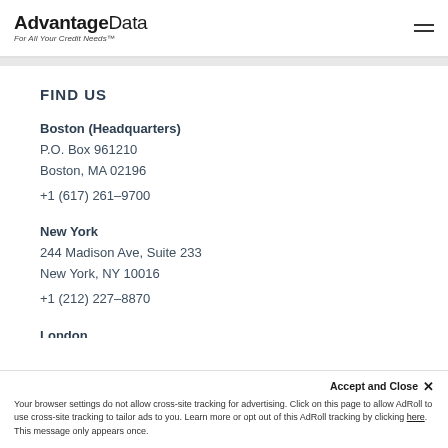AdvantageData — For All Your Credit Needs™
FIND US
Boston (Headquarters)
P.O. Box 961210
Boston, MA 02196
+1 (617) 261-9700
New York
244 Madison Ave, Suite 233
New York, NY 10016
+1 (212) 227-8870
London
Accept and Close ×
Your browser settings do not allow cross-site tracking for advertising. Click on this page to allow AdRoll to use cross-site tracking to tailor ads to you. Learn more or opt out of this AdRoll tracking by clicking here. This message only appears once.